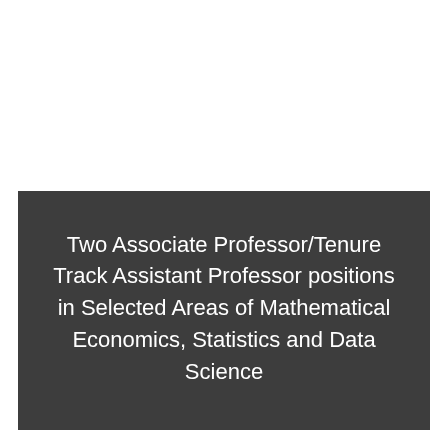Two Associate Professor/Tenure Track Assistant Professor positions in Selected Areas of Mathematical Economics, Statistics and Data Science